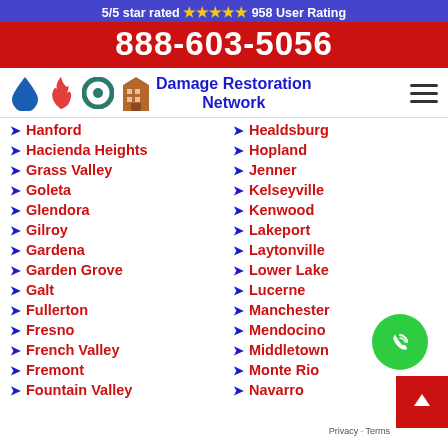5/5 star rated ★★★★★ 958 User Rating
888-603-5056
[Figure (logo): Damage Restoration Network logo with water drop, fire, storm, and building icons]
Hanford
Hacienda Heights
Grass Valley
Goleta
Glendora
Gilroy
Gardena
Garden Grove
Galt
Fullerton
Fresno
French Valley
Fremont
Fountain Valley
Healdsburg
Hopland
Jenner
Kelseyville
Kenwood
Lakeport
Laytonville
Lower Lake
Lucerne
Manchester
Mendocino
Middletown
Monte Rio
Navarro